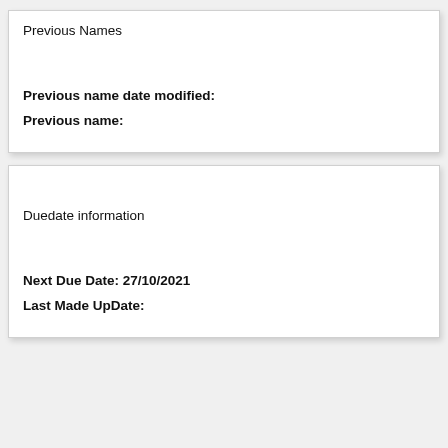Previous Names
Previous name date modified:
Previous name:
Duedate information
Next Due Date: 27/10/2021
Last Made UpDate: